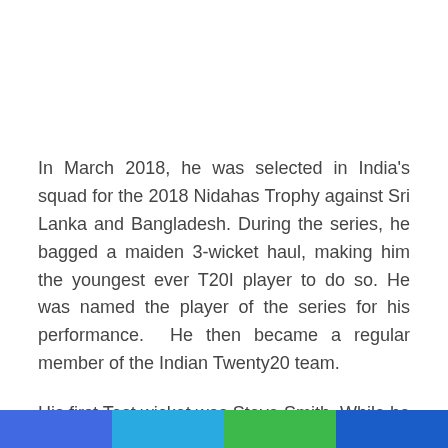In March 2018, he was selected in India's squad for the 2018 Nidahas Trophy against Sri Lanka and Bangladesh. During the series, he bagged a maiden 3-wicket haul, making him the youngest ever T20I player to do so. He was named the player of the series for his performance. He then became a regular member of the Indian Twenty20 team.
His first Test wicket was Steve Smith. While he scored 62 in his first Test innings in a crucial seventh wicket partnership of 123 with Shardul Thakur. Which kept India from facing a huge